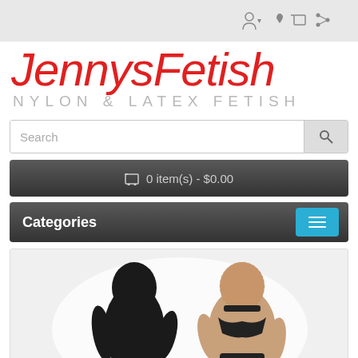Navigation bar with user, wishlist, cart and share icons
JennysFetish
Nylon & Latex Fetish
Search
0 item(s) - $0.00
Categories
[Figure (photo): Two figures in a fetish scene: one figure in full black latex bodysuit and mask, another figure wearing a mesh hood/collar and black lingerie]